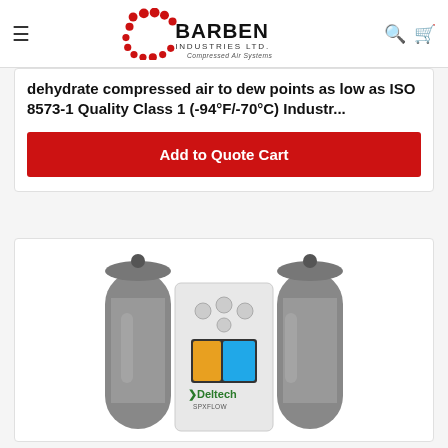Barben Industries Ltd. — Compressed Air Systems
dehydrate compressed air to dew points as low as ISO 8573-1 Quality Class 1 (-94°F/-70°C) Industr...
Add to Quote Cart
[Figure (photo): Deltech SPX Flow heatless desiccant air dryer with two grey cylindrical towers and a white central control unit with digital display and gauges, showing Deltech SPXFLOW branding.]